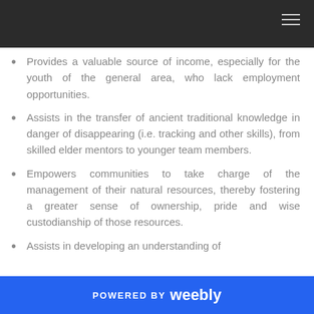Provides a valuable source of income, especially for the youth of the general area, who lack employment opportunities.
Assists in the transfer of ancient traditional knowledge in danger of disappearing (i.e. tracking and other skills), from skilled elder mentors to younger team members.
Empowers communities to take charge of the management of their natural resources, thereby fostering a greater sense of ownership, pride and wise custodianship of those resources.
Assists in developing an understanding of
POWERED BY weebly